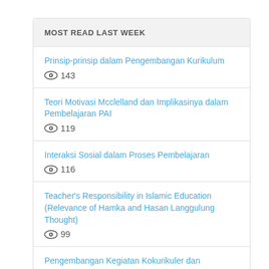MOST READ LAST WEEK
Prinsip-prinsip dalam Pengembangan Kurikulum
👁 143
Teori Motivasi Mcclelland dan Implikasinya dalam Pembelajaran PAI
👁 119
Interaksi Sosial dalam Proses Pembelajaran
👁 116
Teacher's Responsibility in Islamic Education (Relevance of Hamka and Hasan Langgulung Thought)
👁 99
Pengembangan Kegiatan Kokurikuler dan Ekstrakurikuler
👁 77